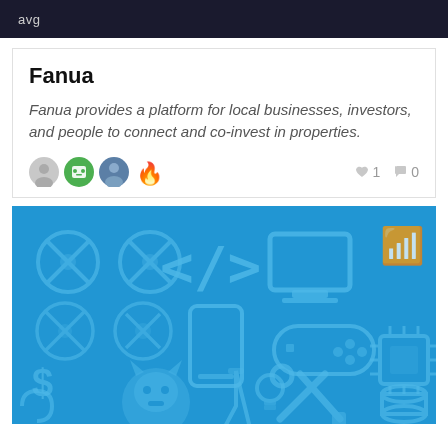avg
Fanua
Fanua provides a platform for local businesses, investors, and people to connect and co-invest in properties.
[Figure (illustration): Blue background illustration with various technology icons: drones with X blades, code brackets, monitor, WiFi, mobile phone, game controller, GitHub cat logo, dollar sign, tools (wrench and hammer), lab flask, light bulb, database stack, microchip.]